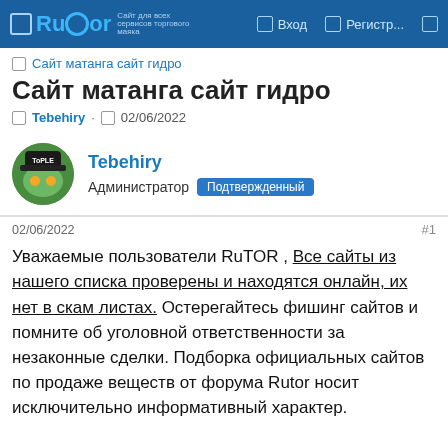Rutor | Вход | Регистр...
Сайт матанга сайт гидро
Сайт матанга сайт гидро
Tebehiry · 02/06/2022
Tebehiry
Администратор Подтвержденный
02/06/2022
#1
Уважаемые пользователи RuTOR , Все сайты из нашего списка проверены и находятся онлайн, их нет в скам листах. Остерегайтесь фишинг сайтов и помните об уголовной ответственности за незаконные сделки. Подборка официальных сайтов по продаже веществ от форума Rutor носит исключительно информативный характер.